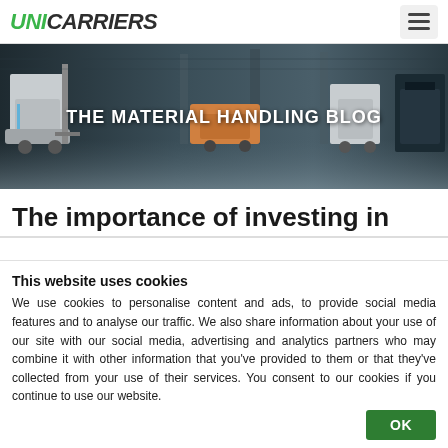UniCarriers
[Figure (photo): Hero banner showing warehouse forklifts and material handling equipment with overlay text 'THE MATERIAL HANDLING BLOG']
The importance of investing in
This website uses cookies
We use cookies to personalise content and ads, to provide social media features and to analyse our traffic. We also share information about your use of our site with our social media, advertising and analytics partners who may combine it with other information that you've provided to them or that they've collected from your use of their services. You consent to our cookies if you continue to use our website.